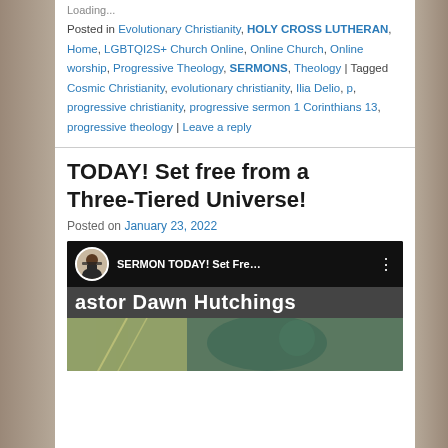Loading...
Posted in Evolutionary Christianity, HOLY CROSS LUTHERAN, Home, LGBTQI2S+ Church Online, Online Church, Online worship, Progressive Theology, SERMONS, Theology | Tagged Cosmic Christianity, evolutionary christianity, Ilia Delio, p, progressive christianity, progressive sermon 1 Corinthians 13, progressive theology | Leave a reply
TODAY! Set free from a Three-Tiered Universe!
Posted on January 23, 2022
[Figure (screenshot): YouTube video thumbnail showing Pastor Dawn Hutchings sermon titled 'SERMON TODAY! Set Fre...' with avatar photo and name banner]